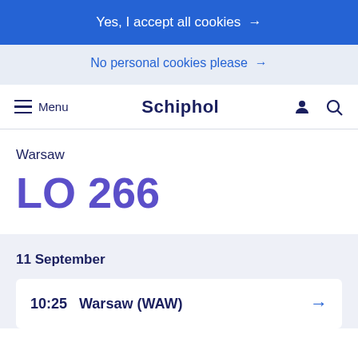Yes, I accept all cookies →
No personal cookies please →
Menu  Schiphol
Warsaw
LO 266
11 September
10:25   Warsaw (WAW)  →